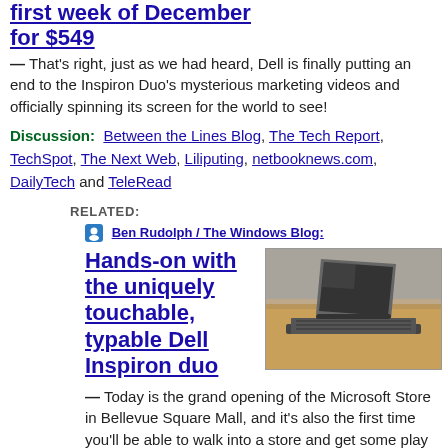first week of December for $549
— That's right, just as we had heard, Dell is finally putting an end to the Inspiron Duo's mysterious marketing videos and officially spinning its screen for the world to see!
Discussion: Between the Lines Blog, The Tech Report, TechSpot, The Next Web, Liliputing, netbooknews.com, DailyTech and TeleRead
RELATED:
Ben Rudolph / The Windows Blog:
Hands-on with the uniquely touchable, typable Dell Inspiron duo
[Figure (photo): Photo of Dell Inspiron Duo convertible laptop/tablet with screen tilted at an angle on a desk]
— Today is the grand opening of the Microsoft Store in Bellevue Square Mall, and it's also the first time you'll be able to walk into a store and get some play time with the Dell Inspiron duo, Dell's completely unique …